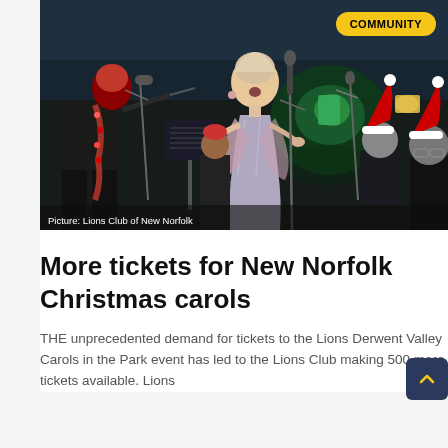[Figure (photo): Outdoor night concert scene with conductor in red sequined hat and tinsel on left, female singer in grey dress at microphone center, musicians in Santa hats in background on right]
Picture: Lions Club of New Norfolk
More tickets for New Norfolk Christmas carols
THE unprecedented demand for tickets to the Lions Derwent Valley Carols in the Park event has led to the Lions Club making 500 more tickets available. Lions